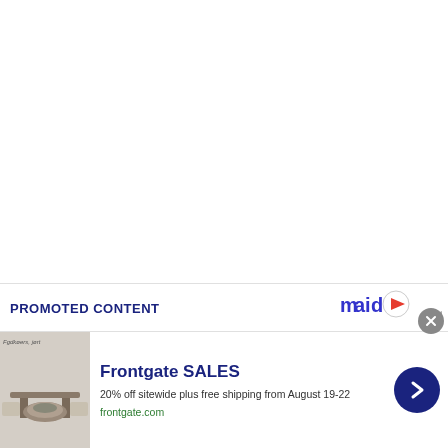PROMOTED CONTENT
[Figure (logo): Maid logo with play button icon in blue and orange]
[Figure (photo): Frontgate outdoor furniture advertisement image showing patio furniture with fire pit]
Frontgate SALES
20% off sitewide plus free shipping from August 19-22
frontgate.com